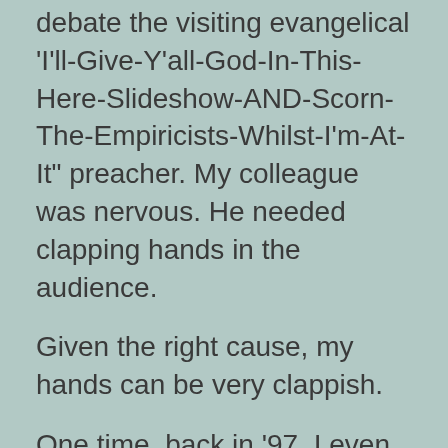debate the visiting evangelical 'I'll-Give-Y'all-God-In-This-Here-Slideshow-AND-Scorn-The-Empiricists-Whilst-I'm-At-It” preacher. My colleague was nervous. He needed clapping hands in the audience.
Given the right cause, my hands can be very clappish.
One time, back in ‘97, I even did a “woot-woot.”
Some Chinese Acrobats had just spun plates with their feet. How could I not?
At any rate, Groom and I slogged our way into